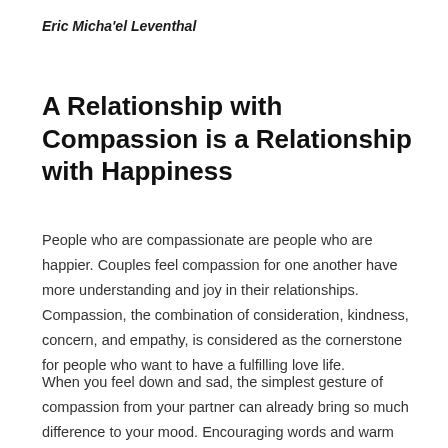Eric Micha'el Leventhal
A Relationship with Compassion is a Relationship with Happiness
People who are compassionate are people who are happier. Couples feel compassion for one another have more understanding and joy in their relationships. Compassion, the combination of consideration, kindness, concern, and empathy, is considered as the cornerstone for people who want to have a fulfilling love life.
When you feel down and sad, the simplest gesture of compassion from your partner can already bring so much difference to your mood. Encouraging words and warm hugs can already vanish any discomfort that you might feel. Having someone to hold your hand, giving you the emotional support you need through staying…